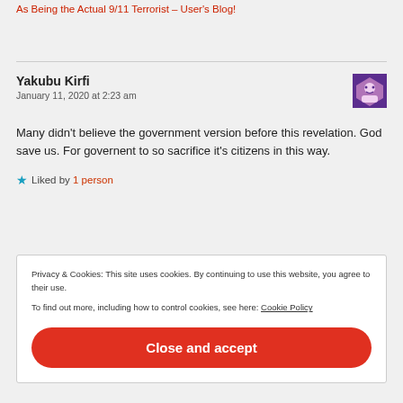Pingback: Muslim Presents Evidence Against U.S, CIA and Israel As Being the Actual 9/11 Terrorist – User's Blog!
Yakubu Kirfi
January 11, 2020 at 2:23 am
Many didn't believe the government version before this revelation. God save us. For governent to so sacrifice it's citizens in this way.
Liked by 1 person
Privacy & Cookies: This site uses cookies. By continuing to use this website, you agree to their use.
To find out more, including how to control cookies, see here: Cookie Policy
Close and accept